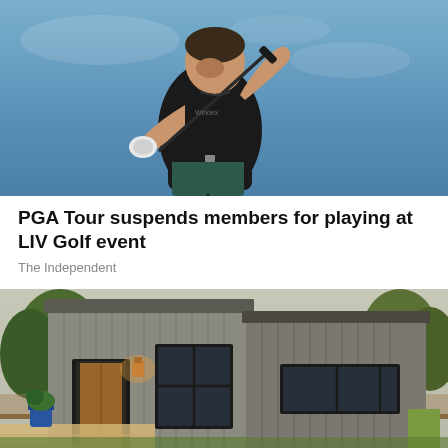[Figure (photo): A male golfer wearing a black polo shirt and dark pants swinging a golf club against a blue sky background]
PGA Tour suspends members for playing at LIV Golf event
The Independent
[Figure (photo): A modern gray tiny house or accessory dwelling unit with dark-framed windows, wood siding, and surrounding trees in a backyard setting]